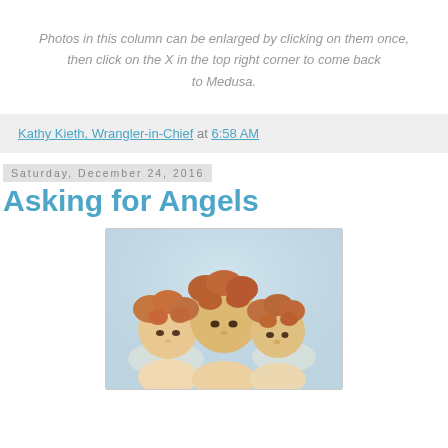Photos in this column can be enlarged by clicking on them once, then click on the X in the top right corner to come back to Medusa.
Kathy Kieth, Wrangler-in-Chief at 6:58 AM
Saturday, December 24, 2016
Asking for Angels
[Figure (photo): Vintage illustration of three cherub angels with curly hair and wings, soft pastel tones]